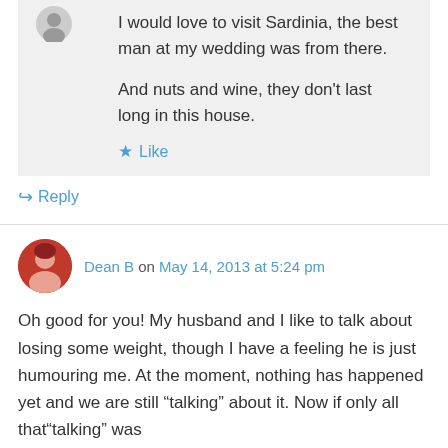I would love to visit Sardinia, the best man at my wedding was from there.

And nuts and wine, they don't last long in this house.
Like
Reply
Dean B on May 14, 2013 at 5:24 pm
Oh good for you! My husband and I like to talk about losing some weight, though I have a feeling he is just humouring me. At the moment, nothing has happened yet and we are still "talking" about it. Now if only all that"talking" was